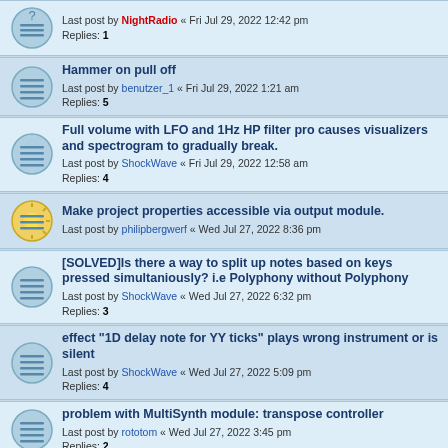Last post by NightRadio « Fri Jul 29, 2022 12:42 pm
Replies: 1
Hammer on pull off
Last post by benutzer_1 « Fri Jul 29, 2022 1:21 am
Replies: 5
Full volume with LFO and 1Hz HP filter pro causes visualizers and spectrogram to gradually break.
Last post by ShockWave « Fri Jul 29, 2022 12:58 am
Replies: 4
Make project properties accessible via output module.
Last post by philipbergwerf « Wed Jul 27, 2022 8:36 pm
[SOLVED]Is there a way to split up notes based on keys pressed simultaniously? i.e Polyphony without Polyphony
Last post by ShockWave « Wed Jul 27, 2022 6:32 pm
Replies: 3
effect "1D delay note for YY ticks" plays wrong instrument or is silent
Last post by ShockWave « Wed Jul 27, 2022 5:09 pm
Replies: 4
problem with MultiSynth module: transpose controller
Last post by rototom « Wed Jul 27, 2022 3:45 pm
Replies: 2
recursive functions?
Last post by AutumnCheney « Wed Jul 27, 2022 12:23 pm
Replies: 3
How to fix Errno 13: permission denied on macOs?
Last post by NightRadio « Wed Jul 27, 2022 11:58 am
Replies: 1